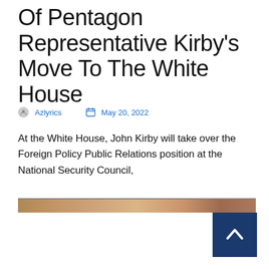Of Pentagon Representative Kirby's Move To The White House
Azlyrics   May 20, 2022
At the White House, John Kirby will take over the Foreign Policy Public Relations position at the National Security Council,
[Figure (photo): Partial horizontal image strip, appears to show a scene with warm brown tones]